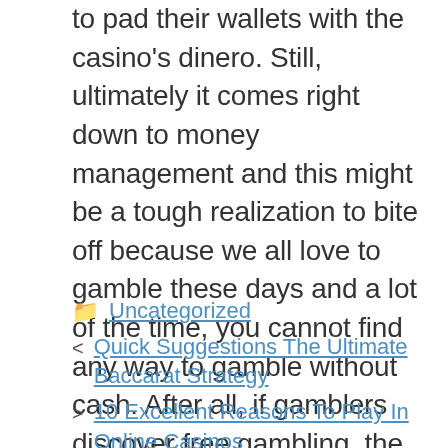to pad their wallets with the casino's dinero. Still, ultimately it comes right down to money management and this might be a tough realization to bite off because we all love to gamble these days and a lot of the time, you cannot find any way to gamble without cash. After all, if gamblers discover free gambling, the fun element wouldn't exist this wouldn't be gambling!
Uncategorized
< Quick Suggestions The Ultimate Baccarat Strategy
> 10 Excellent Reasons To Play In Online Casinos